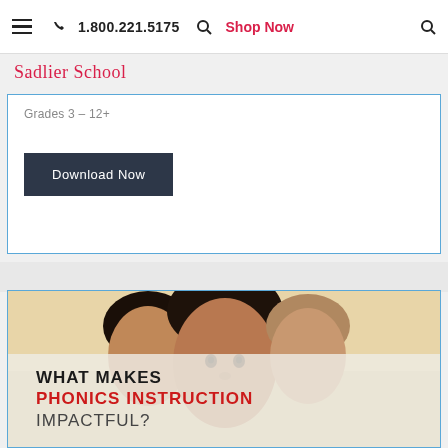☰  📞 1.800.221.5175  🔍  Shop Now  🔍
Sadlier School
Grades 3–12+
Download Now
[Figure (photo): Children in a classroom, a girl in the foreground looking at camera]
WHAT MAKES PHONICS INSTRUCTION IMPACTFUL?